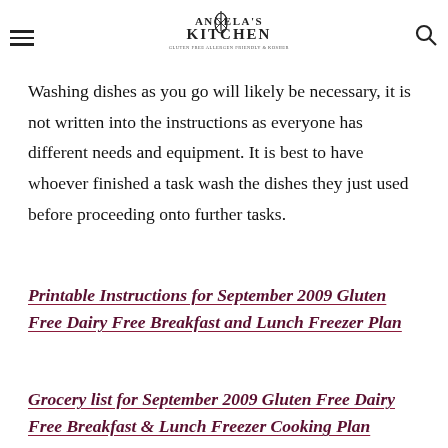Angela's Kitchen
the tasks that you are responsible for during the day.
Washing dishes as you go will likely be necessary, it is not written into the instructions as everyone has different needs and equipment. It is best to have whoever finished a task wash the dishes they just used before proceeding onto further tasks.
Printable Instructions for September 2009 Gluten Free Dairy Free Breakfast and Lunch Freezer Plan
Grocery list for September 2009 Gluten Free Dairy Free Breakfast & Lunch Freezer Cooking Plan